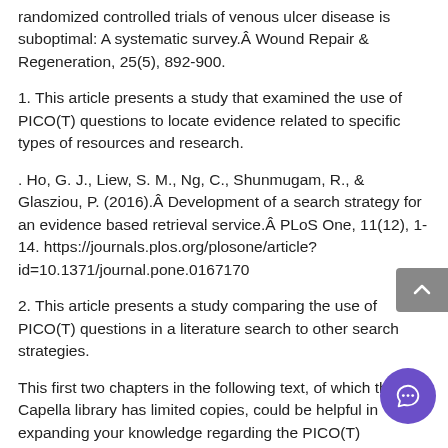randomized controlled trials of venous ulcer disease is suboptimal: A systematic survey.Â Wound Repair & Regeneration, 25(5), 892-900.
1. This article presents a study that examined the use of PICO(T) questions to locate evidence related to specific types of resources and research.
. Ho, G. J., Liew, S. M., Ng, C., Shunmugam, R., & Glasziou, P. (2016).Â Development of a search strategy for an evidence based retrieval service.Â PLoS One, 11(12), 1-14. https://journals.plos.org/plosone/article?id=10.1371/journal.pone.0167170
2. This article presents a study comparing the use of PICO(T) questions in a literature search to other search strategies.
This first two chapters in the following text, of which the Capella library has limited copies, could be helpful in expanding your knowledge regarding the PICO(T)